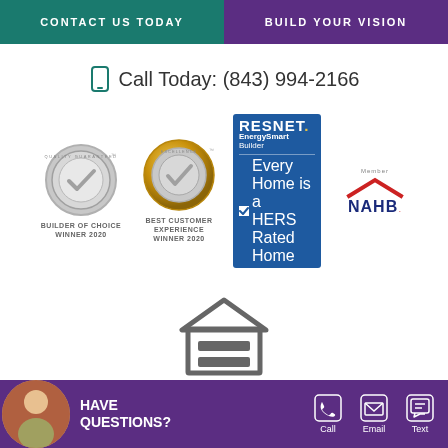CONTACT US TODAY | BUILD YOUR VISION
Call Today: (843) 994-2166
[Figure (logo): Builder of Choice Winner 2020 badge (silver)]
[Figure (logo): Best Customer Experience Winner 2020 badge (gold)]
[Figure (logo): RESNET EnergySmart Builder - Every Home is a HERS Rated Home]
[Figure (logo): NAHB Member logo]
[Figure (logo): Equal Housing Opportunity logo]
EQUAL HOUSING OPPORTUNITY
HAVE QUESTIONS? | Call | Email | Text